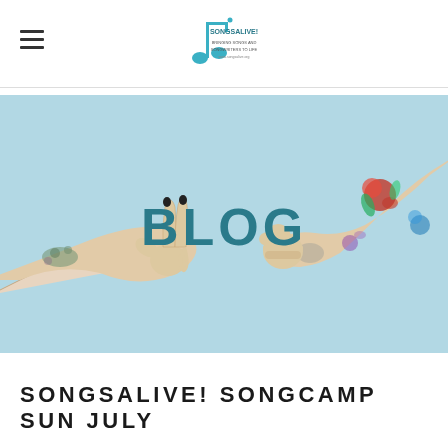Songsalive! [logo] hamburger menu navigation header
[Figure (photo): Two hands reaching toward each other from opposite sides against a light blue background. The left hand makes a peace sign with black nail polish and a small floral tattoo on the wrist. The right arm is heavily tattooed with colorful flowers and a bird. The word BLOG appears in large bold teal uppercase letters in the center of the image.]
SONGSALIVE! SONGCAMP SUN JULY